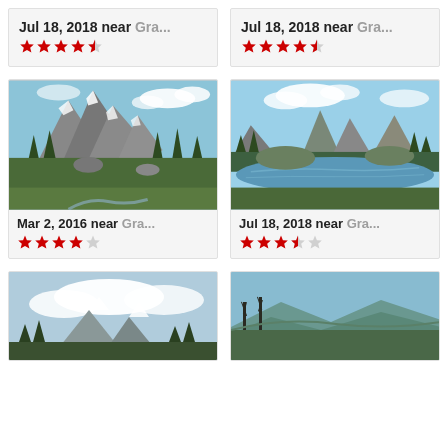[Figure (other): Card: Jul 18, 2018 near Gra... with 4.5 star rating, no image visible]
[Figure (other): Card: Jul 18, 2018 near Gra... with 4.5 star rating, no image visible]
[Figure (photo): Mountain landscape with rocky peaks, snow, and evergreen trees. Mar 2, 2016 near Gra... 4 star rating]
[Figure (photo): Mountain lake scene with peaks reflected, evergreen trees. Jul 18, 2018 near Gra... 3.5 star rating]
[Figure (photo): Partial card bottom: mountain/snow landscape scene]
[Figure (photo): Partial card bottom: forest and rolling hills landscape]